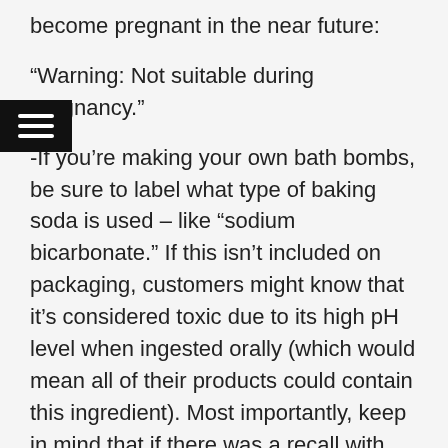become pregnant in the near future:
“Warning: Not suitable during pregnancy.”
-If you’re making your own bath bombs, be sure to label what type of baking soda is used – like “sodium bicarbonate.” If this isn’t included on packaging, customers might know that it’s considered toxic due to its high pH level when ingested orally (which would mean all of their products could contain this ingredient). Most importantly, keep in mind that if there was a recall with one brand but not another because both contained sodium bicarbonate, then consumers won’t have any way of knowing which products are safe.
-You should also keep in mind that if there were a recall, it’s possible for the company to manufacture new batches with an updated label or change its ingredients list but not